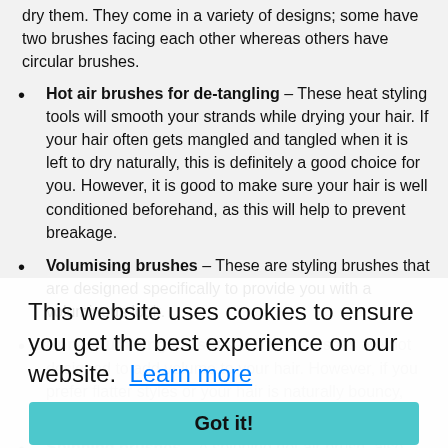dry them. They come in a variety of designs; some have two brushes facing each other whereas others have circular brushes.
Hot air brushes for de-tangling – These heat styling tools will smooth your strands while drying your hair. If your hair often gets mangled and tangled when it is left to dry naturally, this is definitely a good choice for you. However, it is good to make sure your hair is well conditioned beforehand, as this will help to prevent breakage.
Volumising brushes – These are styling brushes that are designed specifically to provide you with a voluminous look.
Non-volumising brushes – These brushes are not designed to add volume to your hair. However, if you prefer flatter styles or your hair is naturally bouncy, you may prefer this sort of styling brush.
Spinning brushes – A spinning hot air brush, also known as a rotating hot brush, features a circular brush and a multi-directional feature that enables them to rotate in either direction. This is a great brush if you
This website uses cookies to ensure you get the best experience on our website. Learn more
Got it!